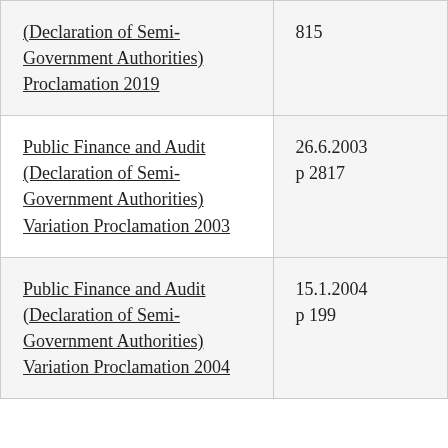| (Declaration of Semi-Government Authorities) Proclamation 2019 | 815 |
| Public Finance and Audit (Declaration of Semi-Government Authorities) Variation Proclamation 2003 | 26.6.2003
p 2817 |
| Public Finance and Audit (Declaration of Semi-Government Authorities) Variation Proclamation 2004 | 15.1.2004
p 199 |